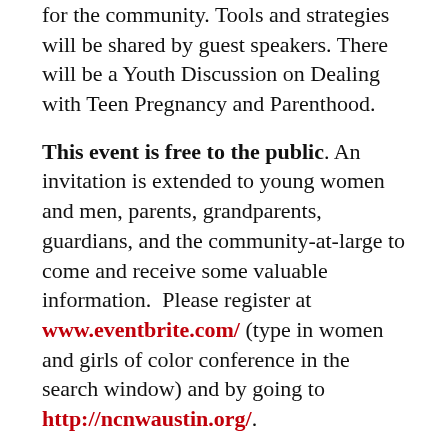for the community. Tools and strategies will be shared by guest speakers. There will be a Youth Discussion on Dealing with Teen Pregnancy and Parenthood.
This event is free to the public. An invitation is extended to young women and men, parents, grandparents, guardians, and the community-at-large to come and receive some valuable information.  Please register at www.eventbrite.com/ (type in women and girls of color conference in the search window) and by going to http://ncnwaustin.org/.
For more information, contact Chairman Marion Childress-Usher at childressusher17@gmail.com, President Shirley Sprinkles at shirleysprinkles@sbcglobal.net, or First Vice President Sheri Marshall (Eventbrite Coordinator)